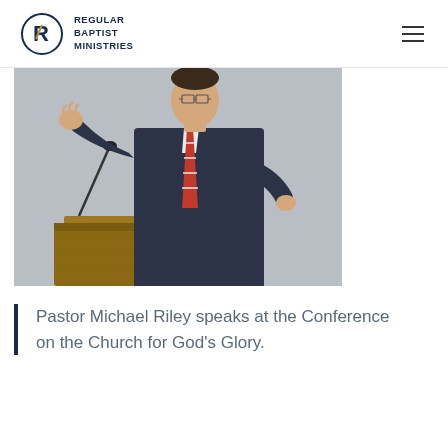Regular Baptist Ministries
[Figure (photo): Pastor Michael Riley speaking at a podium/lectern, wearing a dark suit and red striped tie, gesturing with hands raised, microphone visible in background, conference setting]
Pastor Michael Riley speaks at the Conference on the Church for God's Glory.